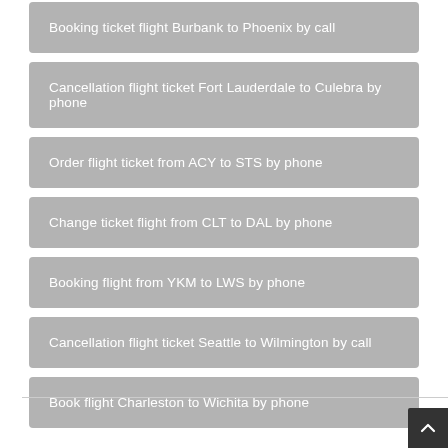Booking ticket flight Burbank to Phoenix by call
Cancellation flight ticket Fort Lauderdale to Culebra by phone
Order flight ticket from ACY to STS by phone
Change ticket flight from CLT to DAL by phone
Booking flight from YKM to LWS by phone
Cancellation flight ticket Seattle to Wilmington by call
Book flight Charleston to Wichita by phone